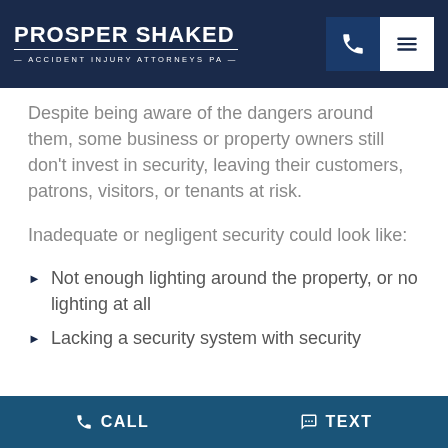PROSPER SHAKED ACCIDENT INJURY ATTORNEYS PA
Despite being aware of the dangers around them, some business or property owners still don't invest in security, leaving their customers, patrons, visitors, or tenants at risk.
Inadequate or negligent security could look like:
Not enough lighting around the property, or no lighting at all
Lacking a security system with security...
CALL   TEXT